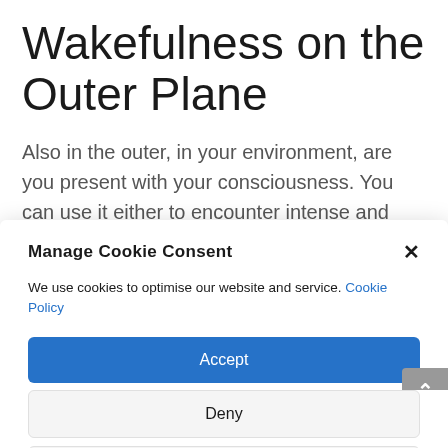Wakefulness on the Outer Plane
Also in the outer, in your environment, are you present with your consciousness. You can use it either to encounter intense and difficult experiences
Manage Cookie Consent
We use cookies to optimise our website and service. Cookie Policy
Accept
Deny
View preferences